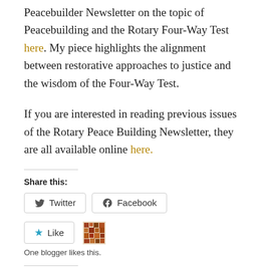Peacebuilder Newsletter on the topic of Peacebuilding and the Rotary Four-Way Test here. My piece highlights the alignment between restorative approaches to justice and the wisdom of the Four-Way Test.
If you are interested in reading previous issues of the Rotary Peace Building Newsletter, they are all available online here.
Share this:
[Figure (screenshot): Share buttons: Twitter and Facebook buttons with icons]
[Figure (screenshot): Like button with star icon, and a mosaic avatar thumbnail]
One blogger likes this.